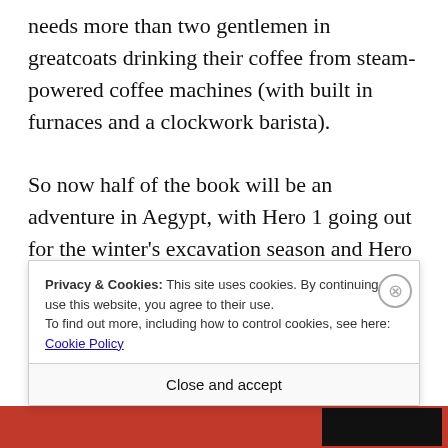needs more than two gentlemen in greatcoats drinking their coffee from steam-powered coffee machines (with built in furnaces and a clockwork barista).
So now half of the book will be an adventure in Aegypt, with Hero 1 going out for the winter's excavation season and Hero 2 going with him. There will be shenanigans with sabotage and
Privacy & Cookies: This site uses cookies. By continuing to use this website, you agree to their use.
To find out more, including how to control cookies, see here: Cookie Policy
Close and accept